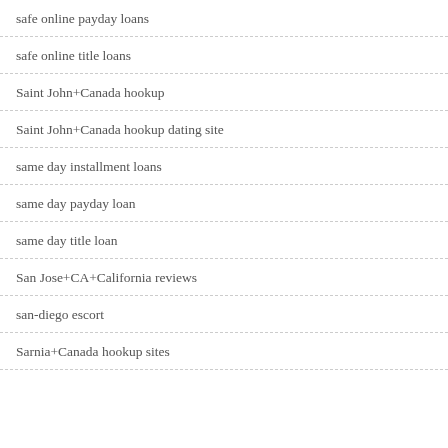safe online payday loans
safe online title loans
Saint John+Canada hookup
Saint John+Canada hookup dating site
same day installment loans
same day payday loan
same day title loan
San Jose+CA+California reviews
san-diego escort
Sarnia+Canada hookup sites